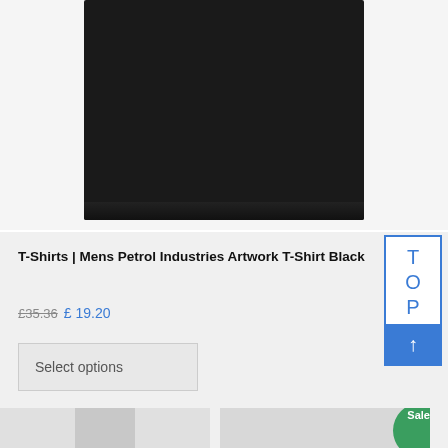[Figure (photo): Black t-shirt product photo on white/light grey background, showing the body/torso area of a folded black t-shirt]
T-Shirts | Mens Petrol Industries Artwork T-Shirt Black
£35.36 £ 19.20
Select options
[Figure (other): TOP navigation widget — white box with blue border showing letters T, O, P stacked vertically in blue, with a blue arrow-up button at the bottom]
[Figure (photo): Bottom strip showing partial product thumbnails and a green Sale! badge]